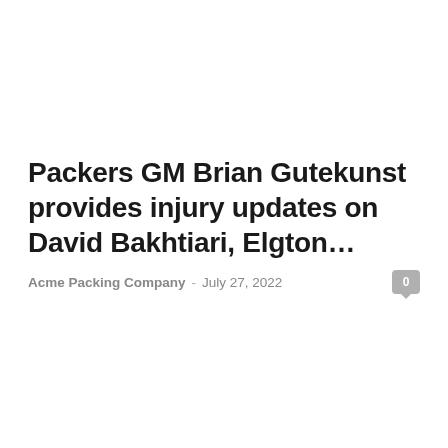Packers GM Brian Gutekunst provides injury updates on David Bakhtiari, Elgton…
Acme Packing Company  -  July 27, 2022